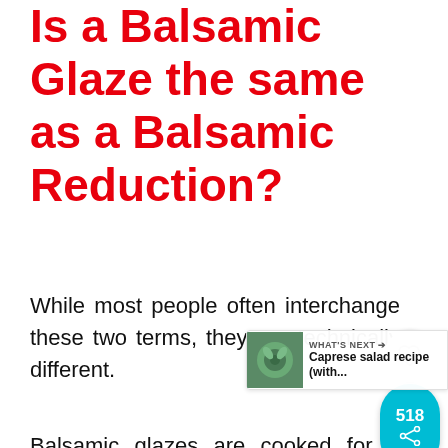Is a Balsamic Glaze the same as a Balsamic Reduction?
While most people often interchange these two terms, they are technically different.
Balsamic glazes are cooked for a long time over a slow heat, and the goal is to reduce the liquid to produce a syrup-like consiste… On the other hand, a balsamic